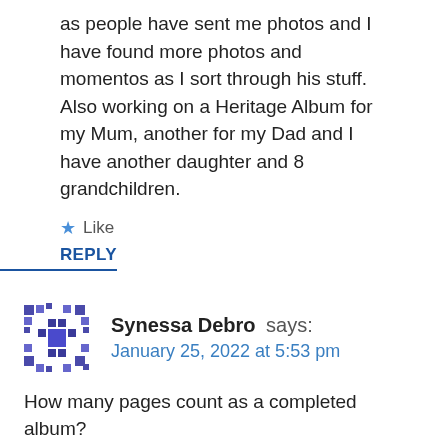as people have sent me photos and I have found more photos and momentos as I sort through his stuff. Also working on a Heritage Album for my Mum, another for my Dad and I have another daughter and 8 grandchildren.
Like
REPLY
Synessa Debro says:
January 25, 2022 at 5:53 pm
How many pages count as a completed album?
Like
REPLY